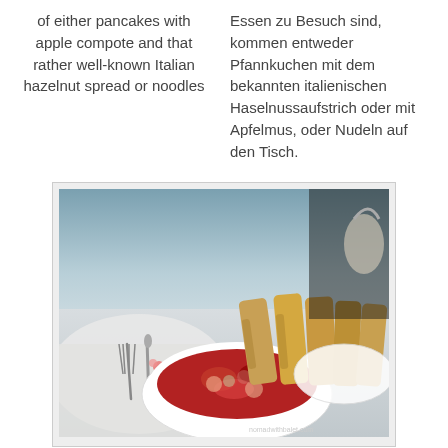of either pancakes with apple compote and that rather well-known Italian hazelnut spread or noodles
Essen zu Besuch sind, kommen entweder Pfannkuchen mit dem bekannten italienischen Haselnussaufstrich oder mit Apfelmus, oder Nudeln auf den Tisch.
[Figure (photo): A food photograph showing a white bowl filled with a red fruit compote (berry and apple mixture), with what appear to be fried dough sticks or French toast in the background, set on a white tablecloth with a fork visible on the left.]
How commendable then for
Wie lebenswert daher der